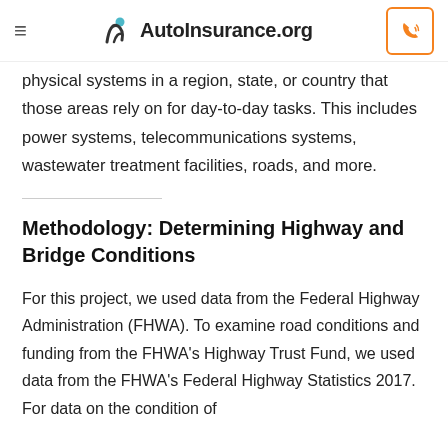AutoInsurance.org
physical systems in a region, state, or country that those areas rely on for day-to-day tasks. This includes power systems, telecommunications systems, wastewater treatment facilities, roads, and more.
Methodology: Determining Highway and Bridge Conditions
For this project, we used data from the Federal Highway Administration (FHWA). To examine road conditions and funding from the FHWA's Highway Trust Fund, we used data from the FHWA's Federal Highway Statistics 2017. For data on the condition of